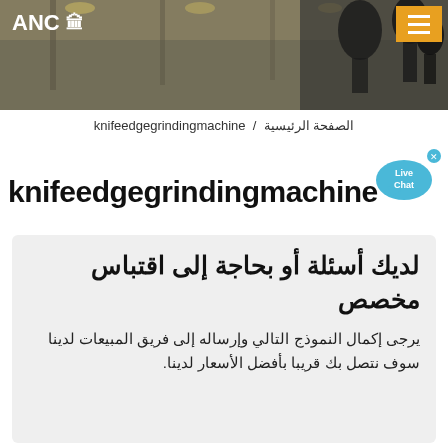[Figure (photo): Website header banner with industrial/factory background and microphones on right side, with ANC logo on top left and orange hamburger menu button on top right]
الصفحة الرئيسية / knifeedgegrindingmachine
[Figure (illustration): Live Chat bubble icon in blue/cyan color with x close button]
knifeedgegrindingmachine
لديك أسئلة أو بحاجة إلى اقتباس مخصص
يرجى إكمال النموذج التالي وإرساله إلى فريق المبيعات لدينا
سوف نتصل بك قريبا بأفضل الأسعار لدينا.